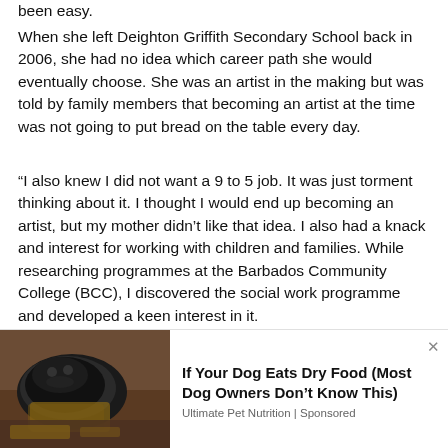been easy.
When she left Deighton Griffith Secondary School back in 2006, she had no idea which career path she would eventually choose. She was an artist in the making but was told by family members that becoming an artist at the time was not going to put bread on the table every day.
“I also knew I did not want a 9 to 5 job. It was just torment thinking about it. I thought I would end up becoming an artist, but my mother didn’t like that idea. I also had a knack and interest for working with children and families. While researching programmes at the Barbados Community College (BCC), I discovered the social work programme and developed a keen interest in it.
[Figure (photo): Advertisement showing a black dog lying down with a basket, promoting dry dog food content.]
If Your Dog Eats Dry Food (Most Dog Owners Don’t Know This)
Ultimate Pet Nutrition | Sponsored